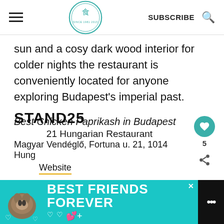SUBSCRIBE
sun and a cosy dark wood interior for colder nights the restaurant is conveniently located for anyone exploring Budapest's imperial past.
Best Chicken Paprikash in Budapest
21 Hungarian Restaurant
Magyar Vendéglő, Fortuna u. 21, 1014 Hung
Website
STAND25
[Figure (infographic): Advertisement banner: teal background with a cat image on left, bold white text 'BEST FRIENDS FOREVER' with heart icons and a close button, dark right panel with dots icon.]